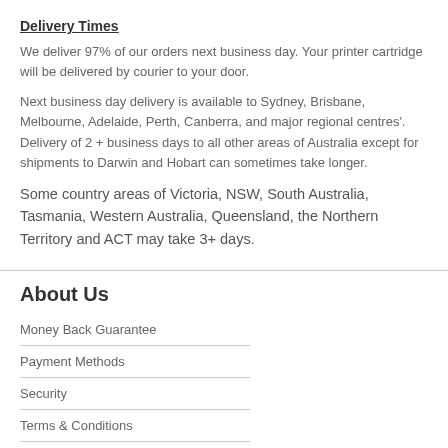Delivery Times
We deliver 97% of our orders next business day. Your printer cartridge will be delivered by courier to your door.
Next business day delivery is available to Sydney, Brisbane, Melbourne, Adelaide, Perth, Canberra, and major regional centres'. Delivery of 2 + business days to all other areas of Australia except for shipments to Darwin and Hobart can sometimes take longer.
Some country areas of Victoria, NSW, South Australia, Tasmania, Western Australia, Queensland, the Northern Territory and ACT may take 3+ days.
About Us
Money Back Guarantee
Payment Methods
Security
Terms & Conditions